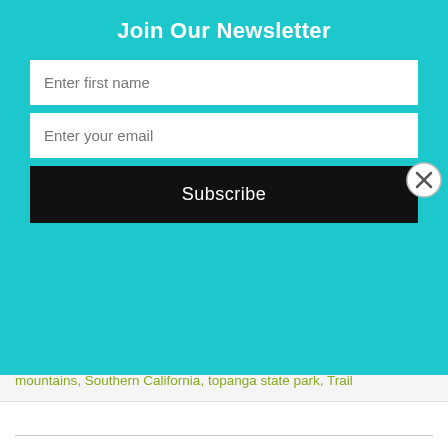Join Our Newsletter
Enter first name
Enter your email
Subscribe
mountains, Southern California, topanga state park, Trail
MT. BALDY, DAWSON PEAK AND PINE MOUNTAIN VIA BACKBONE TRAIL: ANGELES NATIONAL